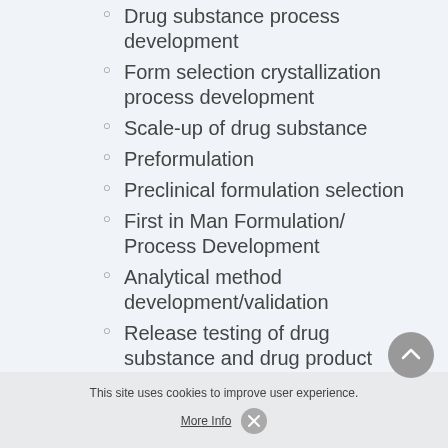Drug substance process development
Form selection crystallization process development
Scale-up of drug substance
Preformulation
Preclinical formulation selection
First in Man Formulation/Process Development
Analytical method development/validation
Release testing of drug substance and drug product
Work up Purification Steps
Telescoping & Process R...g
In...
F... su...
Large Molecule